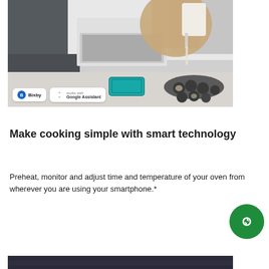[Figure (photo): Person pouring batter into a muffin tin in a modern kitchen, with a Samsung smartphone visible on the counter. Bixby and Works with Google Assistant badges overlaid at bottom left.]
Make cooking simple with smart technology
Preheat, monitor and adjust time and temperature of your oven from wherever you are using your smartphone.*
[Figure (photo): Partial bottom image of a kitchen scene, dark background.]